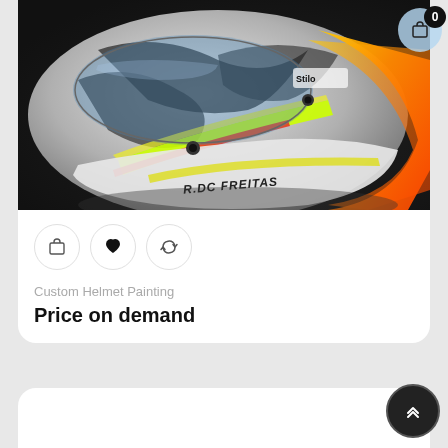[Figure (photo): Custom painted racing helmet with yellow, orange, white, and dark grey design. The helmet has 'R.DC FREITAS' text on the side and a Stilo brand visor. Dark background.]
Custom Helmet Painting
Price on demand